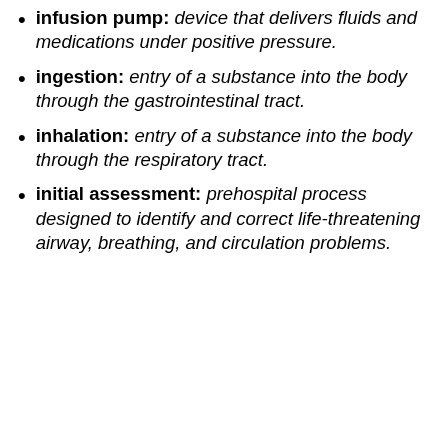infusion pump: device that delivers fluids and medications under positive pressure.
ingestion: entry of a substance into the body through the gastrointestinal tract.
inhalation: entry of a substance into the body through the respiratory tract.
initial assessment: prehospital process designed to identify and correct life-threatening airway, breathing, and circulation problems.